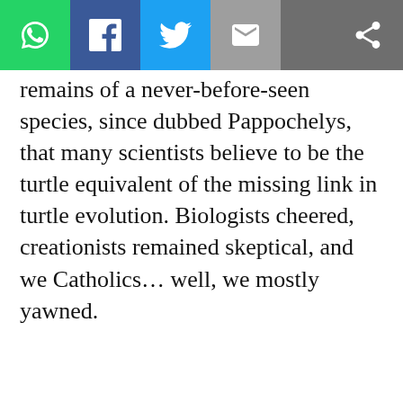[Figure (other): Social sharing toolbar with WhatsApp, Facebook, Twitter, email, and share icons]
remains of a never-before-seen species, since dubbed Pappochelys, that many scientists believe to be the turtle equivalent of the missing link in turtle evolution. Biologists cheered, creationists remained skeptical, and we Catholics… well, we mostly yawned.